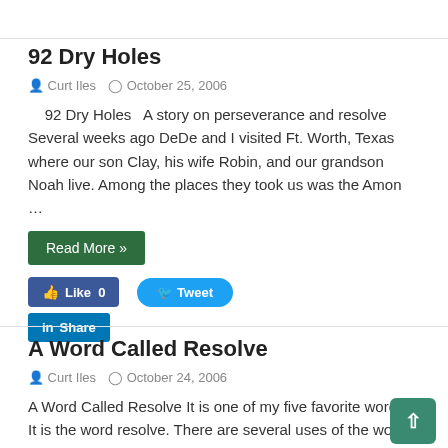92 Dry Holes
Curt Iles   October 25, 2006
92 Dry Holes   A story on perseverance and resolve   Several weeks ago DeDe and I visited Ft. Worth, Texas where our son Clay, his wife Robin, and our grandson Noah live. Among the places they took us was the Amon …
Read More »
A Word Called Resolve
Curt Iles   October 24, 2006
A Word Called Resolve It is one of my five favorite words.* It is the word resolve. There are several uses of the word, but I love the definition that speaks of persistence and grit. Webster's defines it as